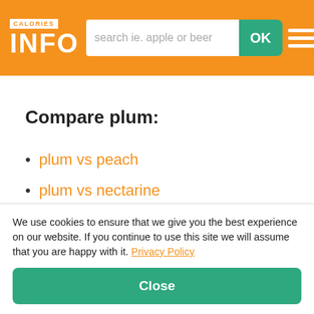CALORIES INFO — search ie. apple or beer — OK
Compare plum:
plum vs peach
plum vs nectarine
plum vs cherries
We use cookies to ensure that we give you the best experience on our website. If you continue to use this site we will assume that you are happy with it. Privacy Policy
Close